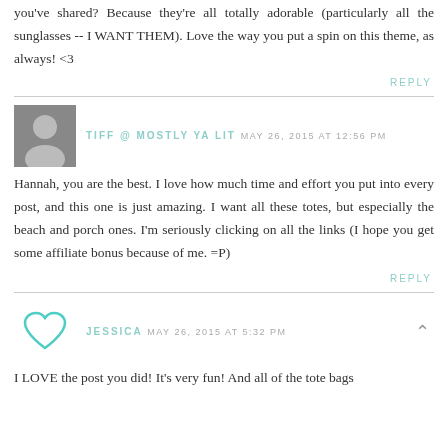you've shared? Because they're all totally adorable (particularly all the sunglasses -- I WANT THEM). Love the way you put a spin on this theme, as always! <3
REPLY
TIFF @ MOSTLY YA LIT MAY 26, 2015 AT 12:56 PM
Hannah, you are the best. I love how much time and effort you put into every post, and this one is just amazing. I want all these totes, but especially the beach and porch ones. I'm seriously clicking on all the links (I hope you get some affiliate bonus because of me. =P)
REPLY
JESSICA MAY 26, 2015 AT 5:32 PM
I LOVE the post you did! It's very fun! And all of the tote bags